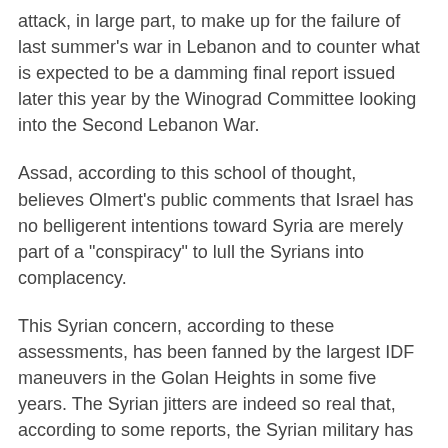attack, in large part, to make up for the failure of last summer's war in Lebanon and to counter what is expected to be a damming final report issued later this year by the Winograd Committee looking into the Second Lebanon War.
Assad, according to this school of thought, believes Olmert's public comments that Israel has no belligerent intentions toward Syria are merely part of a "conspiracy" to lull the Syrians into complacency.
This Syrian concern, according to these assessments, has been fanned by the largest IDF maneuvers in the Golan Heights in some five years. The Syrian jitters are indeed so real that, according to some reports, the Syrian military has canceled large-scale summer training exercises so as not to give Israel a pretense for military action.
The IDF intelligence assessment also indicates that the